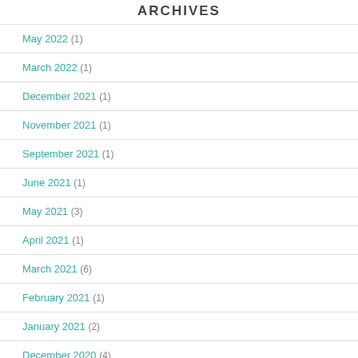ARCHIVES
May 2022 (1)
March 2022 (1)
December 2021 (1)
November 2021 (1)
September 2021 (1)
June 2021 (1)
May 2021 (3)
April 2021 (1)
March 2021 (6)
February 2021 (1)
January 2021 (2)
December 2020 (4)